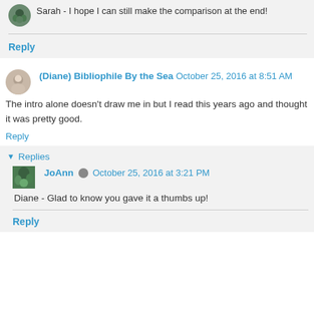Sarah - I hope I can still make the comparison at the end!
Reply
(Diane) Bibliophile By the Sea  October 25, 2016 at 8:51 AM
The intro alone doesn't draw me in but I read this years ago and thought it was pretty good.
Reply
Replies
JoAnn  October 25, 2016 at 3:21 PM
Diane - Glad to know you gave it a thumbs up!
Reply